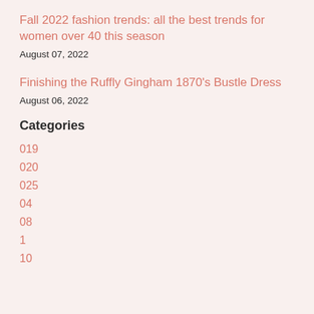Fall 2022 fashion trends: all the best trends for women over 40 this season
August 07, 2022
Finishing the Ruffly Gingham 1870's Bustle Dress
August 06, 2022
Categories
019
020
025
04
08
1
10